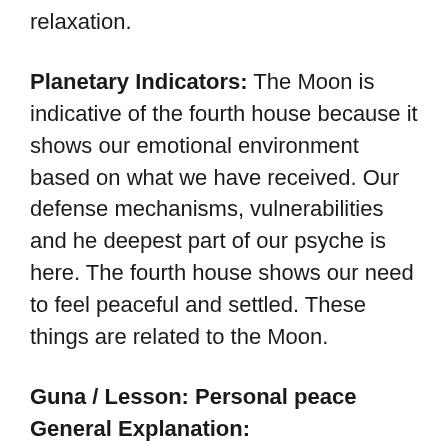relaxation.
Planetary Indicators: The Moon is indicative of the fourth house because it shows our emotional environment based on what we have received. Our defense mechanisms, vulnerabilities and he deepest part of our psyche is here. The fourth house shows our need to feel peaceful and settled. These things are related to the Moon.
Guna / Lesson: Personal peace
General Explanation:
When there is pain in our heart, we don't know what to do to feel better. We may try to cover this feeling with external stimulation (third House). But eventually, we have to face our feelings and ultimately these